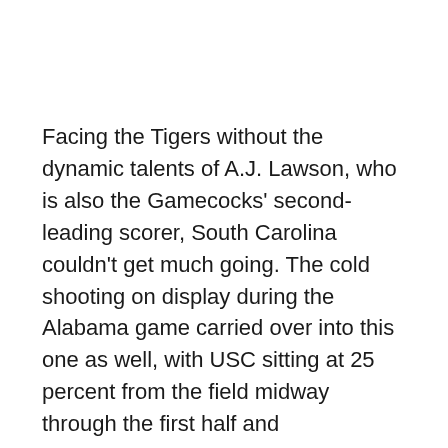Facing the Tigers without the dynamic talents of A.J. Lawson, who is also the Gamecocks' second-leading scorer, South Carolina couldn't get much going. The cold shooting on display during the Alabama game carried over into this one as well, with USC sitting at 25 percent from the field midway through the first half and